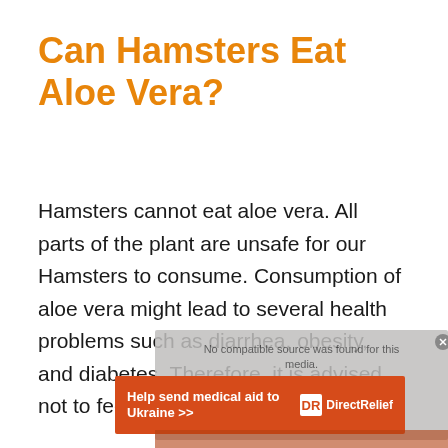Can Hamsters Eat Aloe Vera?
Hamsters cannot eat aloe vera. All parts of the plant are unsafe for our Hamsters to consume. Consumption of aloe vera might lead to several health problems such as diarrhea, obesity, and diabetes. Therefore, it is advised not to feed aloe vera to your
[Figure (screenshot): Partially visible video player overlay with text 'No compatible source was found for this media.' and an advertisement banner 'Help send medical aid to Ukraine >>' with DirectRelief logo on an orange background.]